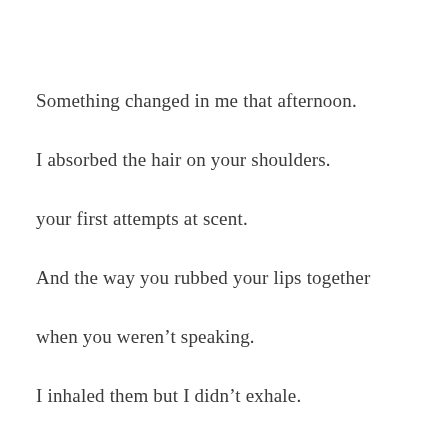Something changed in me that afternoon.
I absorbed the hair on your shoulders.
your first attempts at scent.
And the way you rubbed your lips together
when you weren’t speaking.
I inhaled them but I didn’t exhale.